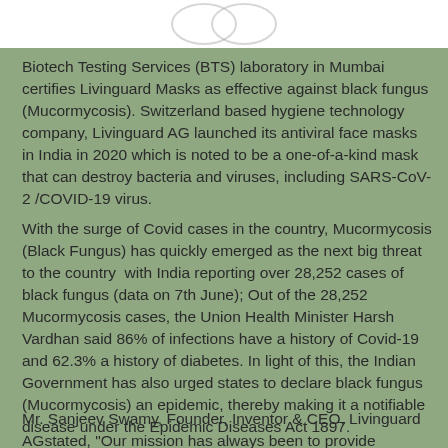[Figure (logo): Partial logo image visible at top of page, white background with logo marks]
Biotech Testing Services (BTS) laboratory in Mumbai certifies Livinguard Masks as effective against black fungus (Mucormycosis). Switzerland based hygiene technology company, Livinguard AG launched its antiviral face masks in India in 2020 which is noted to be a one-of-a-kind mask that can destroy bacteria and viruses, including SARS-CoV-2 /COVID-19 virus.
With the surge of Covid cases in the country, Mucormycosis (Black Fungus) has quickly emerged as the next big threat to the country  with India reporting over 28,252 cases of black fungus (data on 7th June); Out of the 28,252 Mucormycosis cases, the Union Health Minister Harsh Vardhan said 86% of infections have a history of Covid-19 and 62.3% a history of diabetes. In light of this, the Indian Government has also urged states to declare black fungus (Mucormycosis) an epidemic, thereby making it a notifiable disease under the Epidemic Diseases Act 1897.
Mr. Sanjeev Swamy, Founder, Inventor & CEO, Livinguard AGstated, "Our mission has always been to provide hygiene